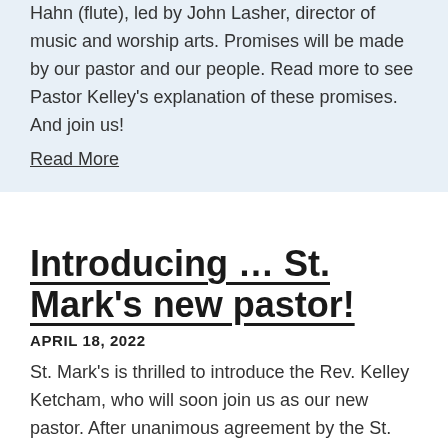Hahn (flute), led by John Lasher, director of music and worship arts. Promises will be made by our pastor and our people. Read more to see Pastor Kelley's explanation of these promises. And join us!
Read More
Introducing … St. Mark's new pastor!
APRIL 18, 2022
St. Mark's is thrilled to introduce the Rev. Kelley Ketcham, who will soon join us as our new pastor. After unanimous agreement by the St. Mark's Council and Call Committee, the congregation voted to call Rev.